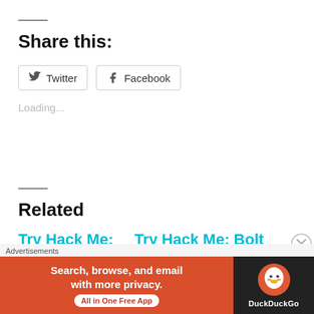Share this:
Twitter  Facebook
Loading...
Related
Try Hack Me:
Try Hack Me: Bolt
[Figure (screenshot): DuckDuckGo advertisement banner: orange section with 'Search, browse, and email with more privacy. All in One Free App' and DuckDuckGo logo on dark background. Close button (X in circle) at top right.]